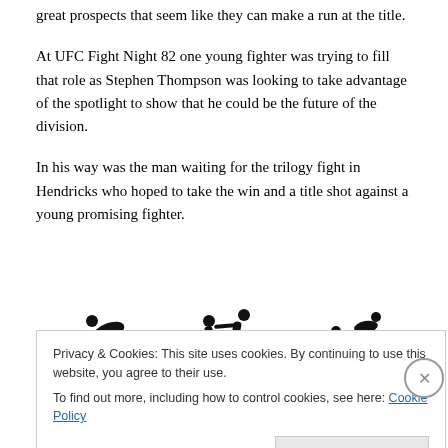great prospects that seem like they can make a run at the title.
At UFC Fight Night 82 one young fighter was trying to fill that role as Stephen Thompson was looking to take advantage of the spotlight to show that he could be the future of the division.
In his way was the man waiting for the trilogy fight in Hendricks who hoped to take the win and a title shot against a young promising fighter.
[Figure (illustration): Three black silhouette illustrations of MMA fighters in various grappling/fighting poses]
Privacy & Cookies: This site uses cookies. By continuing to use this website, you agree to their use.
To find out more, including how to control cookies, see here: Cookie Policy
Close and accept